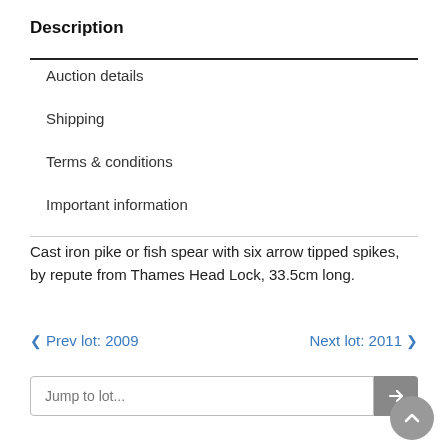Description
Auction details
Shipping
Terms & conditions
Important information
Cast iron pike or fish spear with six arrow tipped spikes, by repute from Thames Head Lock, 33.5cm long.
< Prev lot: 2009    Next lot: 2011 >
Jump to lot...